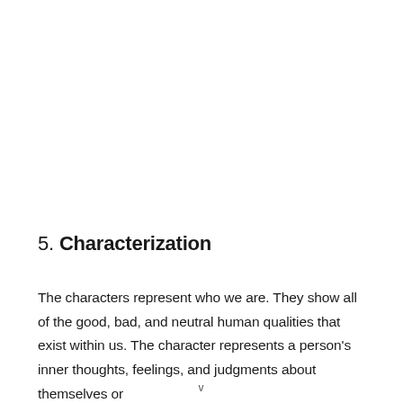5. Characterization
The characters represent who we are. They show all of the good, bad, and neutral human qualities that exist within us. The character represents a person's inner thoughts, feelings, and judgments about themselves or
v